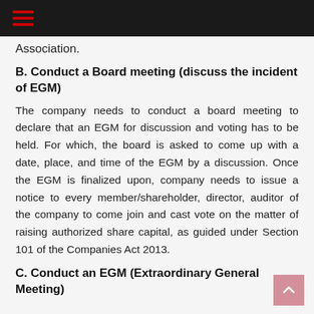Association.
B. Conduct a Board meeting (discuss the incident of EGM)
The company needs to conduct a board meeting to declare that an EGM for discussion and voting has to be held. For which, the board is asked to come up with a date, place, and time of the EGM by a discussion. Once the EGM is finalized upon, company needs to issue a notice to every member/shareholder, director, auditor of the company to come join and cast vote on the matter of raising authorized share capital, as guided under Section 101 of the Companies Act 2013.
C. Conduct an EGM (Extraordinary General Meeting)